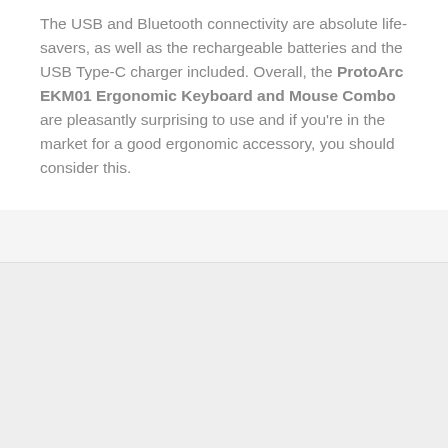The USB and Bluetooth connectivity are absolute life-savers, as well as the rechargeable batteries and the USB Type-C charger included. Overall, the ProtoArc EKM01 Ergonomic Keyboard and Mouse Combo are pleasantly surprising to use and if you're in the market for a good ergonomic accessory, you should consider this.
[Figure (photo): Light gray placeholder image area at the bottom of the page]